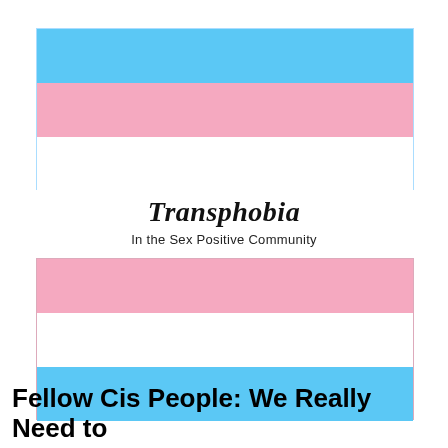[Figure (illustration): Transgender pride flag (top): blue stripe, pink stripe, white stripe — shown as horizontal bands inside a thin light-blue border rectangle]
Transphobia
In the Sex Positive Community
[Figure (illustration): Transgender pride flag (bottom, inverted order): pink stripe, white stripe, blue stripe — shown as horizontal bands inside a thin pink border rectangle]
Fellow Cis People: We Really Need to